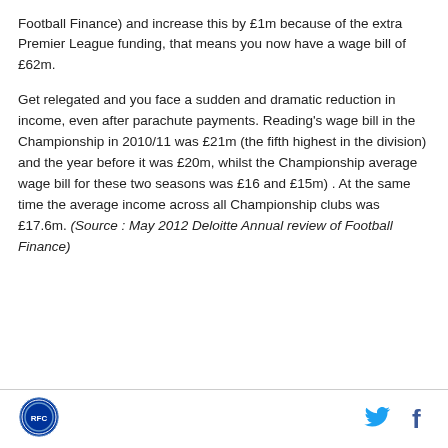Football Finance) and increase this by £1m because of the extra Premier League funding, that means you now have a wage bill of £62m.
Get relegated and you face a sudden and dramatic reduction in income, even after parachute payments. Reading's wage bill in the Championship in 2010/11 was £21m (the fifth highest in the division) and the year before it was £20m, whilst the Championship average wage bill for these two seasons was £16 and £15m) . At the same time the average income across all Championship clubs was £17.6m. (Source : May 2012 Deloitte Annual review of Football Finance)
[Figure (logo): Club crest/logo circular badge in footer]
[Figure (illustration): Twitter bird icon and Facebook 'f' icon in footer]